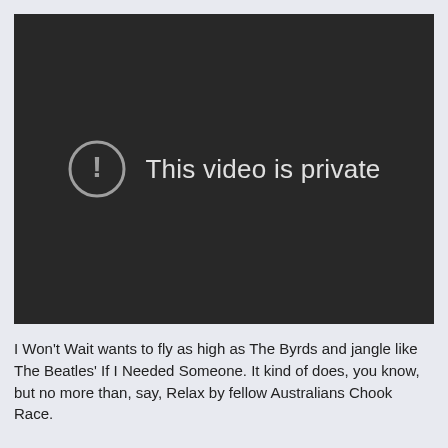[Figure (screenshot): A dark video player showing a private video message. A grey circle with an exclamation mark icon is displayed alongside the text 'This video is private' on a dark background (#282828).]
I Won't Wait wants to fly as high as The Byrds and jangle like The Beatles' If I Needed Someone. It kind of does, you know, but no more than, say, Relax by fellow Australians Chook Race.